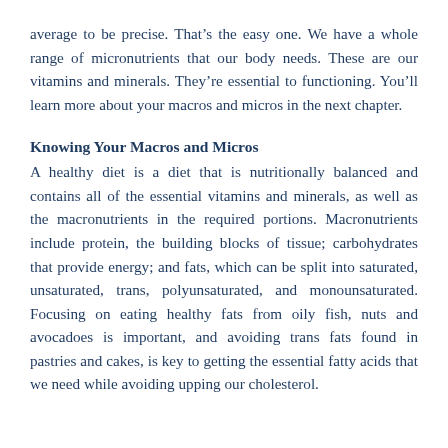average to be precise. That’s the easy one. We have a whole range of micronutrients that our body needs. These are our vitamins and minerals. They’re essential to functioning. You’ll learn more about your macros and micros in the next chapter.
Knowing Your Macros and Micros
A healthy diet is a diet that is nutritionally balanced and contains all of the essential vitamins and minerals, as well as the macronutrients in the required portions. Macronutrients include protein, the building blocks of tissue; carbohydrates that provide energy; and fats, which can be split into saturated, unsaturated, trans, polyunsaturated, and monounsaturated. Focusing on eating healthy fats from oily fish, nuts and avocadoes is important, and avoiding trans fats found in pastries and cakes, is key to getting the essential fatty acids that we need while avoiding upping our cholesterol.